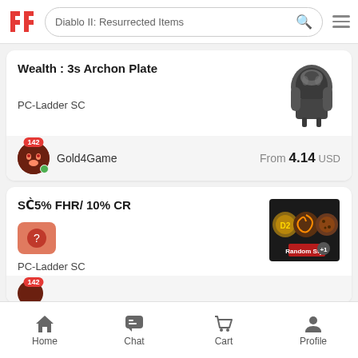Diablo II: Resurrected Items
Wealth : 3s Archon Plate
PC-Ladder SC
Gold4Game  From 4.14 USD
SC⁰5% FHR/ 10% CR
PC-Ladder SC
Home  Chat  Cart  Profile